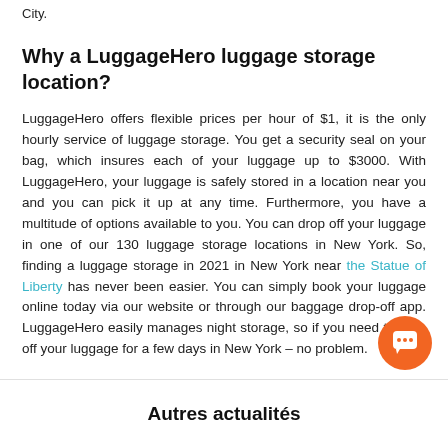City.
Why a LuggageHero luggage storage location?
LuggageHero offers flexible prices per hour of $1, it is the only hourly service of luggage storage. You get a security seal on your bag, which insures each of your luggage up to $3000. With LuggageHero, your luggage is safely stored in a location near you and you can pick it up at any time. Furthermore, you have a multitude of options available to you. You can drop off your luggage in one of our 130 luggage storage locations in New York. So, finding a luggage storage in 2021 in New York near the Statue of Liberty has never been easier. You can simply book your luggage online today via our website or through our baggage drop-off app. LuggageHero easily manages night storage, so if you need to drop off your luggage for a few days in New York – no problem.
Autres actualités